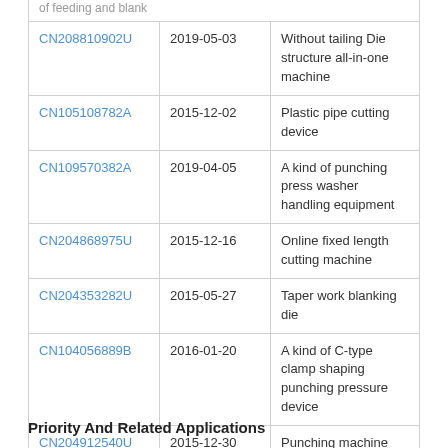| Patent | Date | Title |
| --- | --- | --- |
| CN208810902U | 2019-05-03 | Without tailing Die structure all-in-one machine |
| CN105108782A | 2015-12-02 | Plastic pipe cutting device |
| CN109570382A | 2019-04-05 | A kind of punching press washer handling equipment |
| CN204868975U | 2015-12-16 | Online fixed length cutting machine |
| CN204353282U | 2015-05-27 | Taper work blanking die |
| CN104056889B | 2016-01-20 | A kind of C-type clamp shaping punching pressure device |
| CN204912540U | 2015-12-30 | Punching machine automatic feeding |
Priority And Related Applications